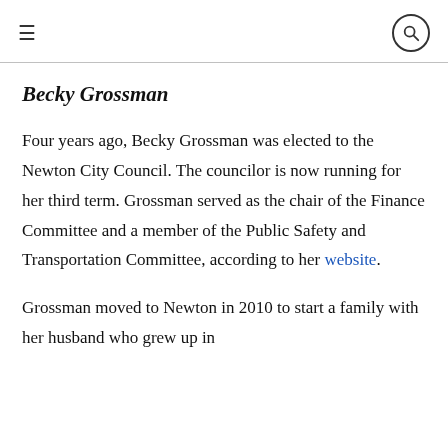≡ [search icon]
Becky Grossman
Four years ago, Becky Grossman was elected to the Newton City Council. The councilor is now running for her third term. Grossman served as the chair of the Finance Committee and a member of the Public Safety and Transportation Committee, according to her website.
Grossman moved to Newton in 2010 to start a family with her husband who grew up in